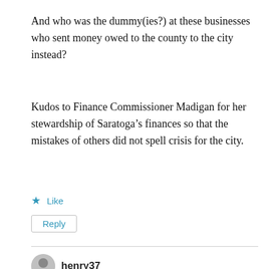And who was the dummy(ies?) at these businesses who sent money owed to the county to the city instead?
Kudos to Finance Commissioner Madigan for her stewardship of Saratoga’s finances so that the mistakes of others did not spell crisis for the city.
★ Like
Reply
henry37
August 24, 2017 at 8:19 pm